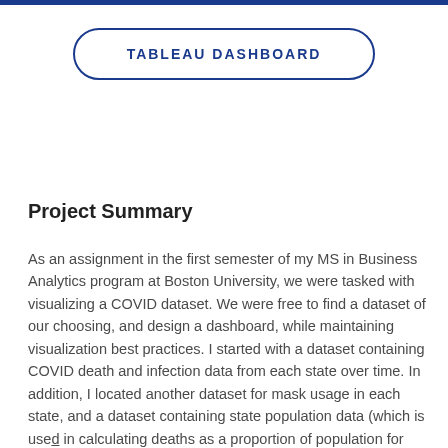[Figure (other): Blue rounded rectangle button with text TABLEAU DASHBOARD]
Project Summary
As an assignment in the first semester of my MS in Business Analytics program at Boston University, we were tasked with visualizing a COVID dataset. We were free to find a dataset of our choosing, and design a dashboard, while maintaining visualization best practices. I started with a dataset containing COVID death and infection data from each state over time. In addition, I located another dataset for mask usage in each state, and a dataset containing state population data (which is used in calculating deaths as a proportion of population for each state). I merged each of those datasets together in Tableau on the